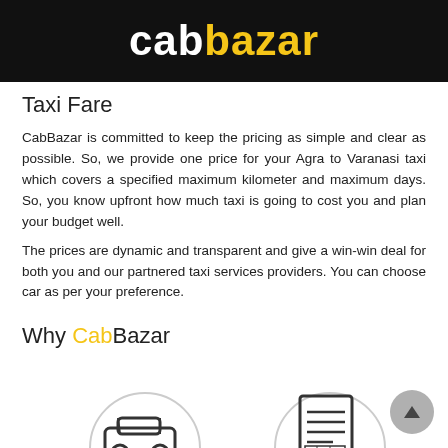cabbazar
Taxi Fare
CabBazar is committed to keep the pricing as simple and clear as possible. So, we provide one price for your Agra to Varanasi taxi which covers a specified maximum kilometer and maximum days. So, you know upfront how much taxi is going to cost you and plan your budget well.
The prices are dynamic and transparent and give a win-win deal for both you and our partnered taxi services providers. You can choose car as per your preference.
Why CabBazar
[Figure (illustration): Two circular icons partially visible at the bottom: a car/taxi icon on the left and a document/clipboard icon on the right. Scroll-to-top button (triangle arrow in circle) visible at bottom right.]